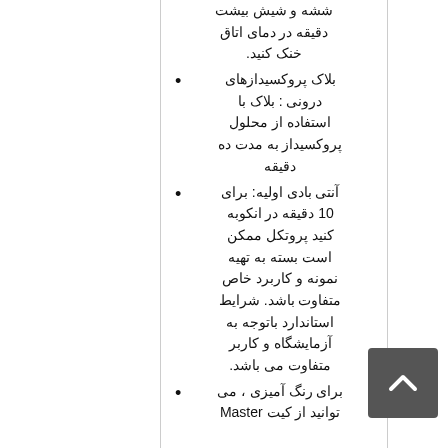ششه و شیش بیشت دقیقه در دمای اتاق خنک کنید.
بلاک پروکسیدازهای درونی : بلاک با استفاده از محلول پروکسیداز به مدت ده دقیقه
آنتی بادی اولیه: برای 10 دقیقه در انکوبه کنید پروتکل ممکن است بسته به تهیه نمونه و کاربرد خاص متفاوت باشد. شرایط استاندارد باتوجه به آزمایشگاه و کاربر متفاوت می باشد.
برای رنگ آمیزی ، می توانید از کیت Master